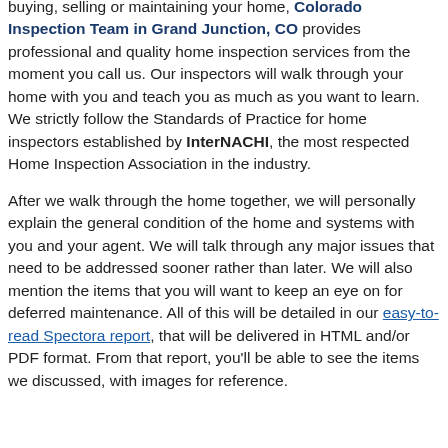buying, selling or maintaining your home, Colorado Inspection Team in Grand Junction, CO provides professional and quality home inspection services from the moment you call us. Our inspectors will walk through your home with you and teach you as much as you want to learn. We strictly follow the Standards of Practice for home inspectors established by InterNACHI, the most respected Home Inspection Association in the industry.

After we walk through the home together, we will personally explain the general condition of the home and systems with you and your agent. We will talk through any major issues that need to be addressed sooner rather than later. We will also mention the items that you will want to keep an eye on for deferred maintenance. All of this will be detailed in our easy-to-read Spectora report, that will be delivered in HTML and/or PDF format. From that report, you'll be able to see the items we discussed, with images for reference.